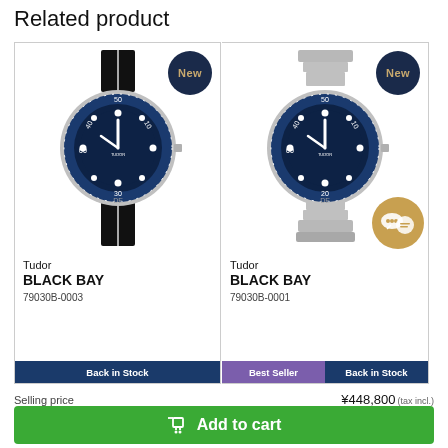Related product
[Figure (photo): Tudor BLACK BAY watch with blue bezel and black NATO strap, model 79030B-0003, labeled New]
[Figure (photo): Tudor BLACK BAY watch with blue bezel and metal bracelet, model 79030B-0001, labeled New]
Tudor
BLACK BAY
79030B-0003
Back in Stock
Tudor
BLACK BAY
79030B-0001
Best Seller  Back in Stock
Selling price  ¥448,800 (tax incl.)
¥408,000 (Tax Free)
Add to cart